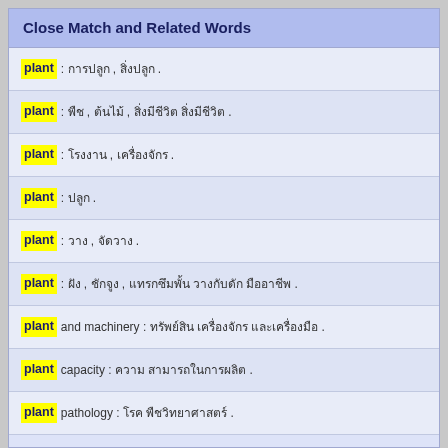Close Match and Related Words
plant : [Thai text] , [Thai text] .
plant : [Thai text] , [Thai text] , [Thai text] [Thai text] .
plant : [Thai text] , [Thai text] .
plant : [Thai text] .
plant : [Thai text] , [Thai text] .
plant : [Thai text] , [Thai text] , [Thai text] [Thai text] [Thai text] [Thai text] .
plant and machinery : [Thai text] [Thai text] [Thai text] [Thai text] .
plant capacity : [Thai text] [Thai text] .
plant pathology : [Thai text] [Thai text] .